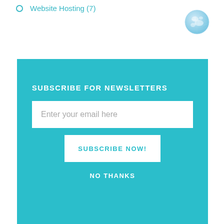Website Hosting (7)
[Figure (illustration): Globe icon — light blue world globe]
SUBSCRIBE FOR NEWSLETTERS
Enter your email here
SUBSCRIBE NOW!
NO THANKS